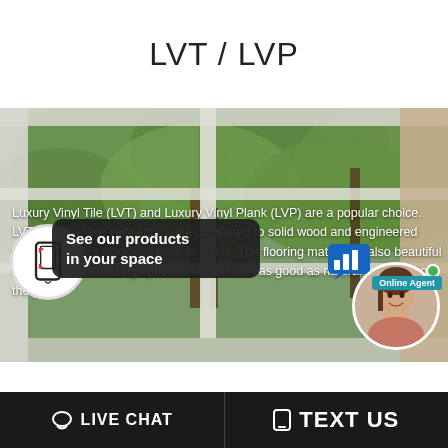LVT / LVP
[Figure (photo): Window looking out onto green trees, with white window frame visible. Text overlay reads: Luxury Vinyl Tile (LVT) and Luxury Vinyl Plank (LVP) are a popular choice. LVT and LVP are very affordable compared to solid wood and engineered wood floors. It's also very easy to install. The flooring material is also beautiful and comes in amazing options that can look as good as natural wood without the price.]
Luxury Vinyl Tile (LVT) and Luxury Vinyl Plank (LVP) are a popular choice. LVT and LVP are very affordable compared to solid wood and engineered wood floors. It's also very easy to install. The flooring material is also beautiful and comes in amazing options that can look as good as natural wood without the price.
See our products in your space | LIVE CHAT | TEXT US